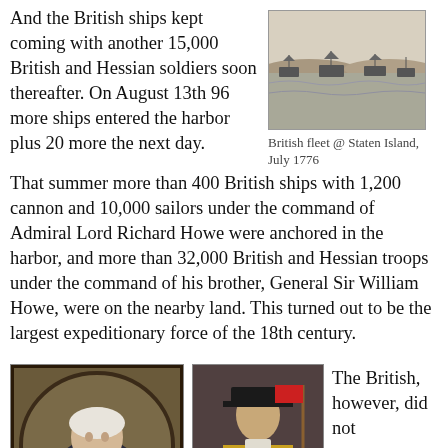And the British ships kept coming with another 15,000 British and Hessian soldiers soon thereafter. On August 13th 96 more ships entered the harbor plus 20 more the next day.
[Figure (photo): Black and white engraving of the British fleet at Staten Island, showing ships in a harbor with land in the background, July 1776]
British fleet @ Staten Island, July 1776
That summer more than 400 British ships with 1,200 cannon and 10,000 sailors under the command of Admiral Lord Richard Howe were anchored in the harbor, and more than 32,000 British and Hessian troops under the command of his brother, General Sir William Howe, were on the nearby land. This turned out to be the largest expeditionary force of the 18th century.
[Figure (photo): Portrait painting of an older man in military uniform, likely an American Revolutionary War general]
[Figure (photo): Portrait of a British officer in red military uniform, standing with a flag or standard]
The British, however, did not